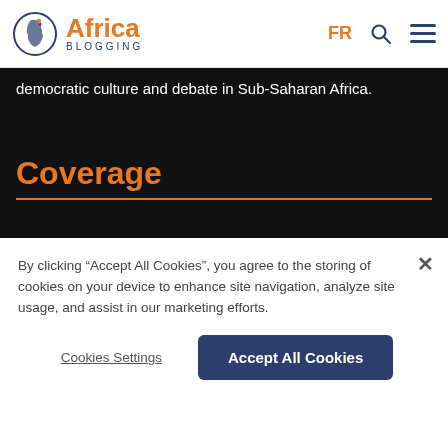Africa Blogging — FR
democratic culture and debate in Sub-Saharan Africa.
Coverage
Latest Articles
Trending Topic
Audio & Video
By Author
By clicking “Accept All Cookies”, you agree to the storing of cookies on your device to enhance site navigation, analyze site usage, and assist in our marketing efforts.
Cookies Settings | Accept All Cookies